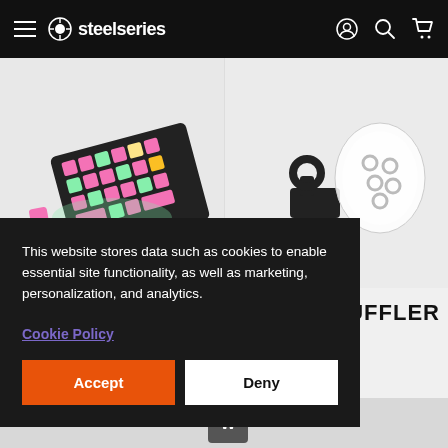SteelSeries navigation bar with hamburger menu, logo, account, search, and cart icons
[Figure (photo): A gaming keyboard with pink keycaps and green RGB lighting, with some keycaps removed, shown at an angle on a white background]
[Figure (photo): A mouse bungee cable holder clip (black) next to a bag of white mouse feet/rings on a light background]
UFFLER
This website stores data such as cookies to enable essential site functionality, as well as marketing, personalization, and analytics.
Cookie Policy
Accept
Deny